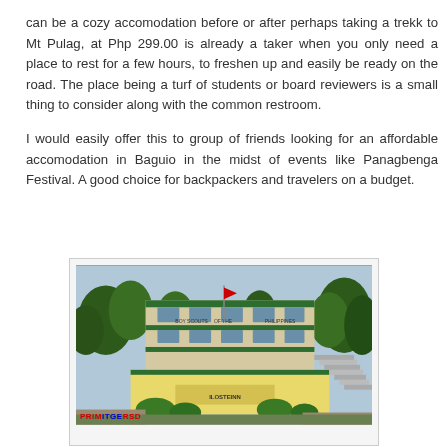can be a cozy accomodation before or after perhaps taking a trekk to Mt Pulag, at Php 299.00 is already a taker when you only need a place to rest for a few hours, to freshen up and easily be ready on the road. The place being a turf of students or board reviewers is a small thing to consider along with the common restroom.

I would easily offer this to group of friends looking for an affordable accomodation in Baguio in the midst of events like Panagbenga Festival. A good choice for backpackers and travelers on a budget.
[Figure (photo): Photo of a multi-story building (Boy Scouts of the Philippines building) in Baguio, surrounded by trees and greenery, with a yellow lower facade and green roof accents. Stairs visible on the right side.]